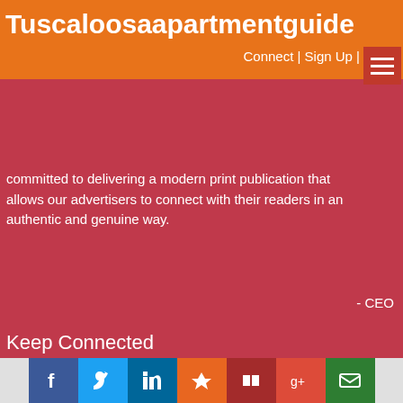Tuscaloosaapartmentguide
Connect | Sign Up |
committed to delivering a modern print publication that allows our advertisers to connect with their readers in an authentic and genuine way.
- CEO
Keep Connected
Like us on Facebook
Follow us on Twitter
Add us on Google Plus
Follow us on Dribbble